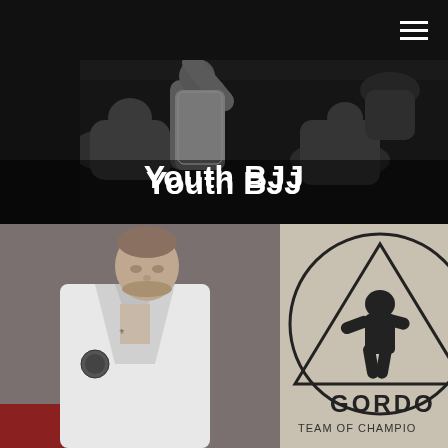[Figure (photo): Dark photo of BJJ (Brazilian Jiu-Jitsu) training session showing students in white gis practicing on a dark mat. A hamburger menu icon appears in the top-right corner over a black background.]
Youth BJJ
[Figure (photo): Photo of a man in a white BJJ gi with tattoos on his chest/neck, looking downward. On the right side is a partial view of the Gordo Jiu Jitsu 'Team of Champions' logo featuring a circular emblem with a grappling figure inside a triangle.]